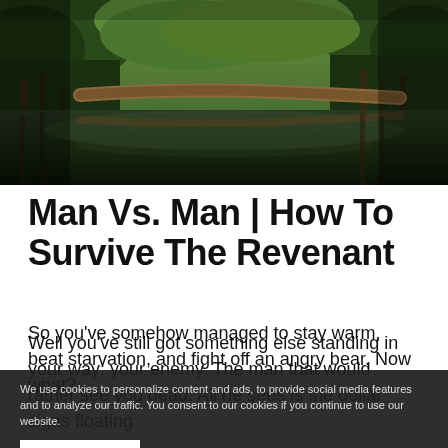[Figure (photo): Outdoor nature photograph showing a forested wetland scene with trees reflected in still dark water, fallen logs, and lush green vegetation.]
Man Vs. Man | How To Survive The Revenant
So you've somehow managed to stay warm, beat starvation, and fight off an angry bear. Now what?
Well you've still got something else standing in your way: your enemy. The man that would rather see you dead. All he sees is the dollar signs floating
We use cookies to personalize content and ads, to provide social media features and to analyze our traffic. You consent to our cookies if you continue to use our website.
ACCEPT